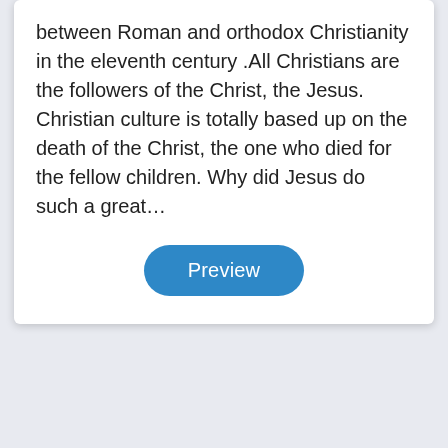between Roman and orthodox Christianity in the eleventh century .All Christians are the followers of the Christ, the Jesus. Christian culture is totally based up on the death of the Christ, the one who died for the fellow children. Why did Jesus do such a great…
[Figure (other): A rounded rectangular blue button labeled 'Preview']